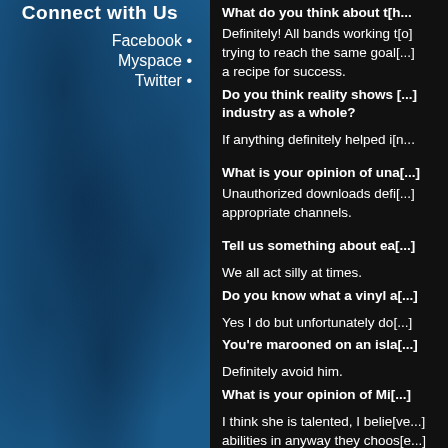Connect with Us
Facebook •
Myspace •
Twitter •
What do you think about th[is]...
Definitely! All bands working t[ogether] trying to reach the same goal[s is] a recipe for success.
Do you think reality shows [affect the] industry as a whole?
If anything definitely helped i[n]...
What is your opinion of una[uthorized downloads]?
Unauthorized downloads defi[nitely avoid] appropriate channels.
Tell us something about ea[ch other]...
We all act silly at times.
Do you know what a vinyl a[lbum is]?
Yes I do but unfortunately do[n't]...
You're marooned on an isla[nd]...
Definitely avoid him.
What is your opinion of Mi[ley]...
I think she is talented, I belie[ve in her] abilities in anyway they choos[e]...